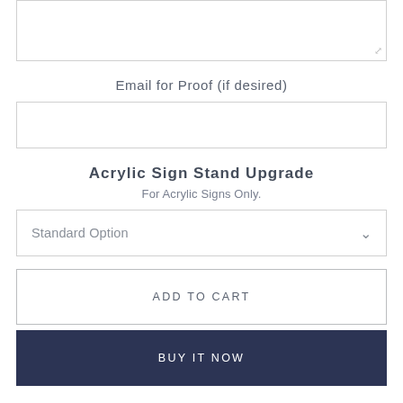[Figure (screenshot): Textarea input box (top portion visible, with resize handle at bottom-right)]
Email for Proof (if desired)
[Figure (screenshot): Single-line text input field for email]
Acrylic Sign Stand Upgrade
For Acrylic Signs Only.
[Figure (screenshot): Dropdown selector showing 'Standard Option' with chevron arrow]
ADD TO CART
BUY IT NOW